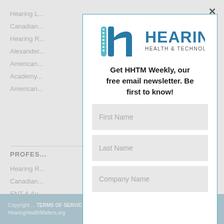Hearing L...
Canadian...
Hearing R...
Alexander...
American...
Academy...
American...
PROFES...
Hearing R...
Canadian...
ENT & Au...
[Figure (logo): Hearing Health & Technology Matters logo with teal 'h' icon]
Get HHTM Weekly, our free email newsletter. Be first to know!
First Name
Last Name
Company Name
Copyright ... TERMS OF SERVICE for using this website. The information at HearingHealthMatters.org